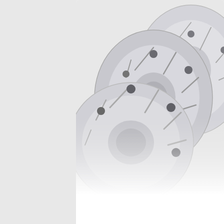[Figure (photo): Gray slotted brake rotors stacked together, viewed from above at an angle, showing the slotted disc surface and mounting holes]
Brake Rotor Set, 226mm Rear Slotted
$110.00
[Figure (photo): Gold/bronze colored cross-drilled brake rotors partially visible at the bottom of the page]